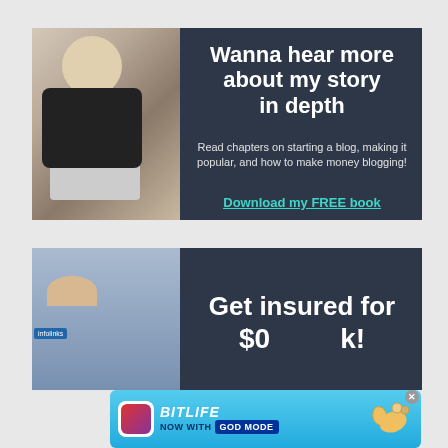[Figure (illustration): Blog promotion banner ad: man with laptop sitting outdoors next to dark navy text area reading 'Wanna hear more about my story in depth' with subtext 'Read chapters on starting a blog, making it popular, and how to make money blogging!' and CTA 'Download my FREE book']
[Figure (illustration): Insurance ad banner: stressed man holding head next to dark navy text area reading 'Get insured for $0...' partially visible]
[Figure (illustration): BitLife mobile game advertisement banner: 'NOW WITH GOD MODE' with pointing hand graphic, on light blue background]